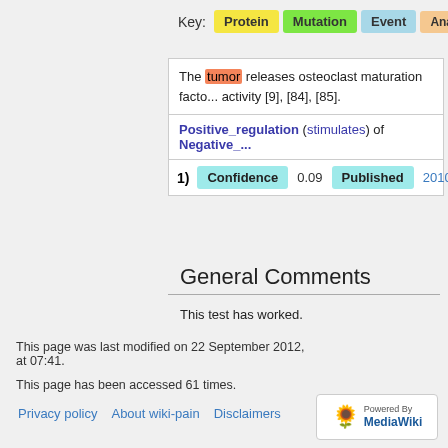[Figure (infographic): Key legend showing Protein (yellow), Mutation (green), Event (light blue), Anatomy (peach) color labels]
The tumor releases osteoclast maturation factor... activity [9], [84], [85].
Positive_regulation (stimulates) of Negative_...
| 1) | Confidence | 0.09 | Published | 2010 | J |
| --- | --- | --- | --- | --- | --- |
General Comments
This test has worked.
This page was last modified on 22 September 2012, at 07:41.
This page has been accessed 61 times.
Privacy policy  About wiki-pain  Disclaimers